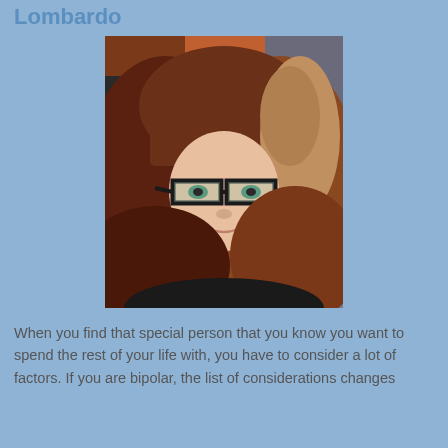Lombardo
[Figure (photo): A young woman with long reddish-brown wavy hair and bangs, wearing black rectangular glasses, taking a selfie. She is smiling slightly and wearing a dark top. Background includes orange/red and dark tones.]
When you find that special person that you know you want to spend the rest of your life with, you have to consider a lot of factors. If you are bipolar, the list of considerations changes